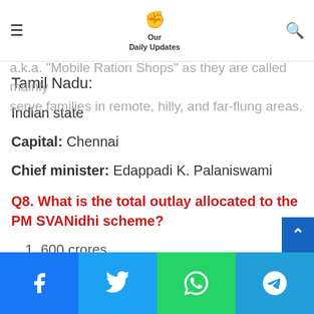Our Daily Updates — navigation bar
The Tamil Nadu Chief Minister subsequently launched 2801 mobile public distribution outlets in the state a.k.a. 'Mobile Ration Shops' as they are called mainly serve families in remote, hilly, and far-flung areas.
Tamil Nadu:
Indian state
Capital: Chennai
Chief minister: Edappadi K. Palaniswami
Q8. What is the total outlay allocated to the PM SVANidhi scheme?
1. 600 crores